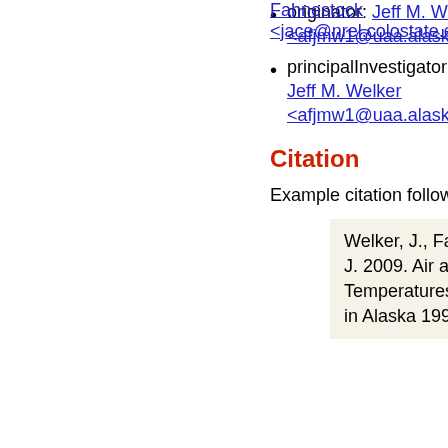originator: Jeff M. Welker <afjmw1@uaa.alaska.edu
principalInvestigator: Jeff M. Welker <afjmw1@uaa.alaska.edu
Citation
Example citation following ESIP guidelines:
Welker, J., Fahnestock, J. 2009. Air and Soil Temperatures from Sites in Alaska 1995-2001.